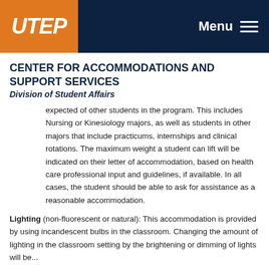[Figure (logo): UTEP logo on orange background with navy header bar and Menu hamburger icon]
CENTER FOR ACCOMMODATIONS AND SUPPORT SERVICES
Division of Student Affairs
expected of other students in the program. This includes Nursing or Kinesiology majors, as well as students in other majors that include practicums, internships and clinical rotations. The maximum weight a student can lift will be indicated on their letter of accommodation, based on health care professional input and guidelines, if available. In all cases, the student should be able to ask for assistance as a reasonable accommodation.
Lighting (non-fluorescent or natural): This accommodation is provided by using incandescent bulbs in the classroom. Changing the amount of lighting in the classroom setting by the brightening or dimming of lights will be...